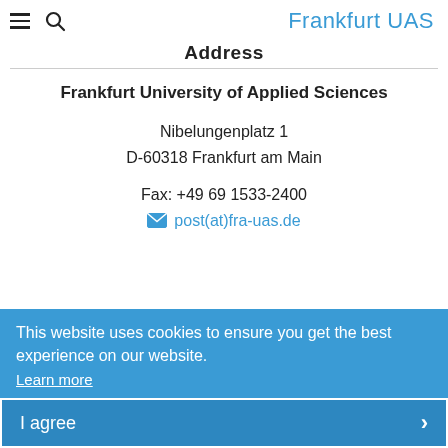Frankfurt UAS
Address
Frankfurt University of Applied Sciences
Nibelungenplatz 1
D-60318 Frankfurt am Main
Fax: +49 69 1533-2400
post(at)fra-uas.de
Map and Directions
This website uses cookies to ensure you get the best experience on our website.
Learn more
I agree